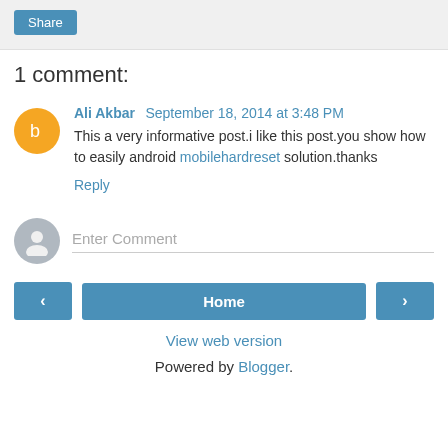Share
1 comment:
Ali Akbar  September 18, 2014 at 3:48 PM
This a very informative post.i like this post.you show how to easily android mobilehardreset solution.thanks
Reply
Enter Comment
Home
View web version
Powered by Blogger.